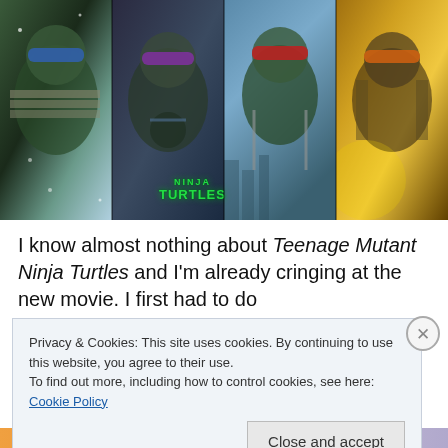[Figure (photo): Movie poster collage for Teenage Mutant Ninja Turtles showing four turtle characters side by side with the Ninja Turtles logo in the center]
I know almost nothing about Teenage Mutant Ninja Turtles and I'm already cringing at the new movie. I first had to do
Privacy & Cookies: This site uses cookies. By continuing to use this website, you agree to their use.
To find out more, including how to control cookies, see here: Cookie Policy
Close and accept